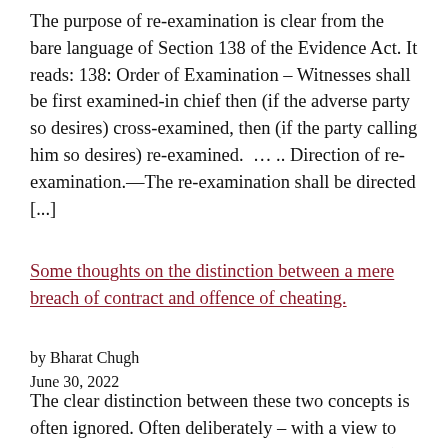The purpose of re-examination is clear from the bare language of Section 138 of the Evidence Act. It reads: 138: Order of Examination – Witnesses shall be first examined-in chief then (if the adverse party so desires) cross-examined, then (if the party calling him so desires) re-examined.  … .. Direction of re-examination.—The re-examination shall be directed [...]
Some thoughts on the distinction between a mere breach of contract and offence of cheating.
by Bharat Chugh
June 30, 2022
The clear distinction between these two concepts is often ignored. Often deliberately – with a view to turn a potently civil dispute into a criminal case (to